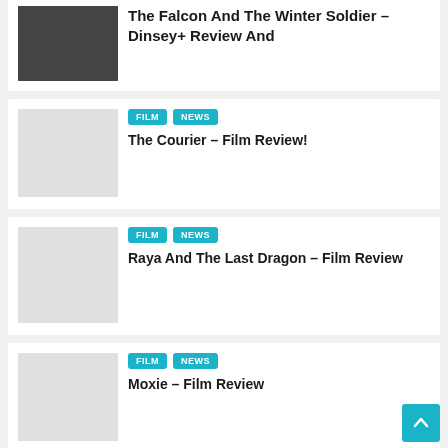The Falcon And The Winter Soldier – Dinsey+ Review And
FILM | NEWS — The Courier – Film Review!
FILM | NEWS — Raya And The Last Dragon – Film Review
FILM | NEWS — Moxie – Film Review